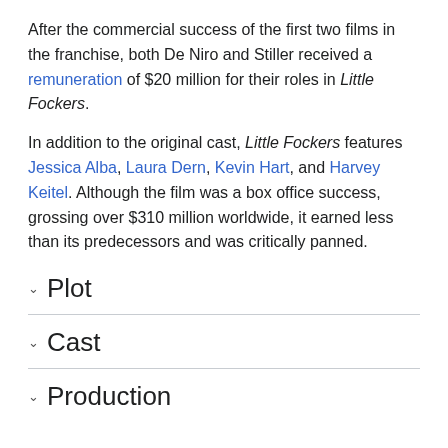After the commercial success of the first two films in the franchise, both De Niro and Stiller received a remuneration of $20 million for their roles in Little Fockers.
In addition to the original cast, Little Fockers features Jessica Alba, Laura Dern, Kevin Hart, and Harvey Keitel. Although the film was a box office success, grossing over $310 million worldwide, it earned less than its predecessors and was critically panned.
Plot
Cast
Production